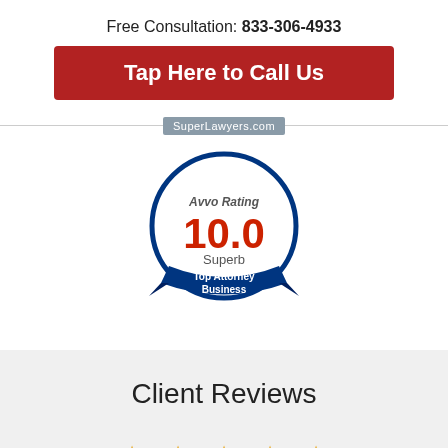Free Consultation: 833-306-4933
Tap Here to Call Us
SuperLawyers.com
[Figure (logo): Avvo Rating 10.0 Superb Top Attorney Business badge — circular blue and white badge with orange/red '10.0' rating text]
Client Reviews
★★★★★ (five gold stars)